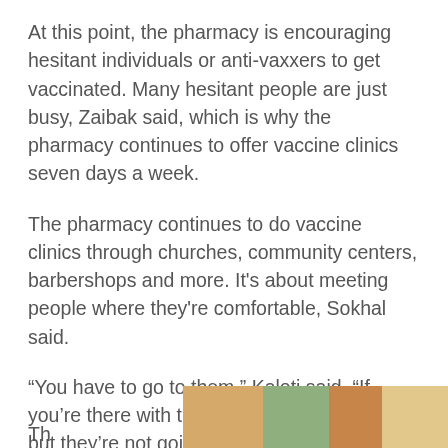At this point, the pharmacy is encouraging hesitant individuals or anti-vaxxers to get vaccinated. Many hesitant people are just busy, Zaibak said, which is why the pharmacy continues to offer vaccine clinics seven days a week.
The pharmacy continues to do vaccine clinics through churches, community centers, barbershops and more. It's about meeting people where they're comfortable, Sokhal said.
“You have to go to them,” Kaloti said. “If you’re there with them, then they’ll consider it but they’re not going to drive to a pharmacy and get vaccinated on their own.”
Th...
[Figure (photo): Partial photo visible at the bottom right of the page, showing colorful imagery related to the pharmacy or vaccination setting.]